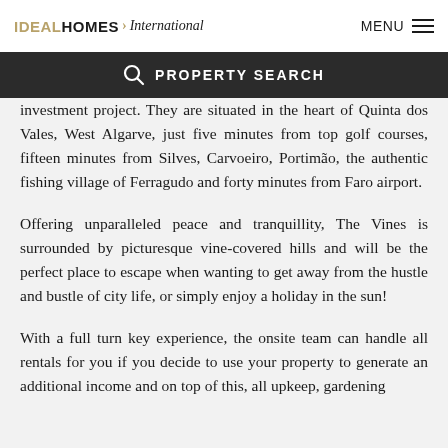IDEAL HOMES International | MENU
PROPERTY SEARCH
investment project. They are situated in the heart of Quinta dos Vales, West Algarve, just five minutes from top golf courses, fifteen minutes from Silves, Carvoeiro, Portimão, the authentic fishing village of Ferragudo and forty minutes from Faro airport.
Offering unparalleled peace and tranquillity, The Vines is surrounded by picturesque vine-covered hills and will be the perfect place to escape when wanting to get away from the hustle and bustle of city life, or simply enjoy a holiday in the sun!
With a full turn key experience, the onsite team can handle all rentals for you if you decide to use your property to generate an additional income and on top of this, all upkeep, gardening